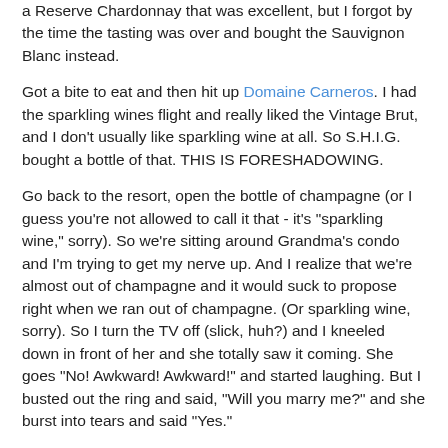a Reserve Chardonnay that was excellent, but I forgot by the time the tasting was over and bought the Sauvignon Blanc instead.
Got a bite to eat and then hit up Domaine Carneros. I had the sparkling wines flight and really liked the Vintage Brut, and I don't usually like sparkling wine at all. So S.H.I.G. bought a bottle of that. THIS IS FORESHADOWING.
Go back to the resort, open the bottle of champagne (or I guess you're not allowed to call it that - it's "sparkling wine," sorry). So we're sitting around Grandma's condo and I'm trying to get my nerve up. And I realize that we're almost out of champagne and it would suck to propose right when we ran out of champagne. (Or sparkling wine, sorry). So I turn the TV off (slick, huh?) and I kneeled down in front of her and she totally saw it coming. She goes "No! Awkward! Awkward!" and started laughing. But I busted out the ring and said, "Will you marry me?" and she burst into tears and said "Yes."
HERE'S THE VISUAL PROOF: